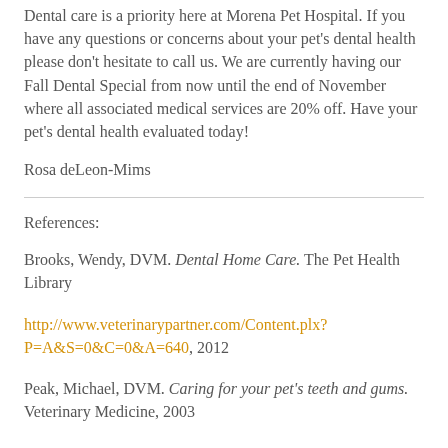Dental care is a priority here at Morena Pet Hospital. If you have any questions or concerns about your pet's dental health please don't hesitate to call us. We are currently having our Fall Dental Special from now until the end of November where all associated medical services are 20% off. Have your pet's dental health evaluated today!
Rosa deLeon-Mims
References:
Brooks, Wendy, DVM. Dental Home Care. The Pet Health Library
http://www.veterinarypartner.com/Content.plx?P=A&S=0&C=0&A=640, 2012
Peak, Michael, DVM. Caring for your pet's teeth and gums. Veterinary Medicine, 2003